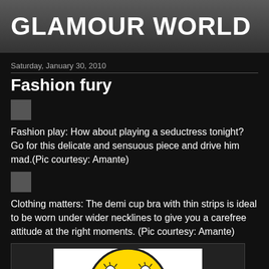GLAMOUR WORLD
Saturday, January 30, 2010
Fashion fury
[Figure (photo): Small grey thumbnail placeholder image]
Fashion play: How about playing a seductress tonight? Go for this delicate and sensuous piece and drive him mad.(Pic courtesy: Amante)
[Figure (photo): Small grey thumbnail placeholder image]
Clothing matters: The demi cup bra with thin strips is ideal to be worn under wider necklines to give you a carefree attitude at the right moments. (Pic courtesy: Amante)
[Figure (illustration): A yellow crying smiley face emoji on white background, partial view]